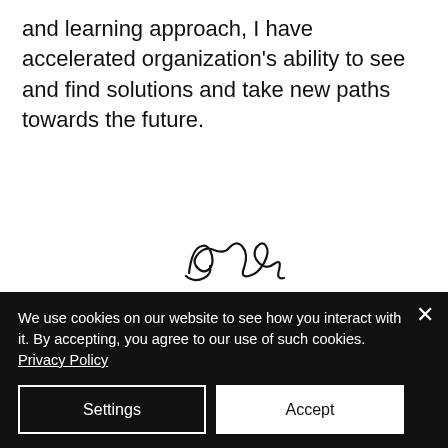and learning approach, I have accelerated organization's ability to see and find solutions and take new paths towards the future.
[Figure (illustration): Handwritten signature in black ink]
[Figure (photo): Portrait photo of a woman with red-brown hair and round glasses, smiling, on a white background]
We use cookies on our website to see how you interact with it. By accepting, you agree to our use of such cookies. Privacy Policy
Settings
Accept